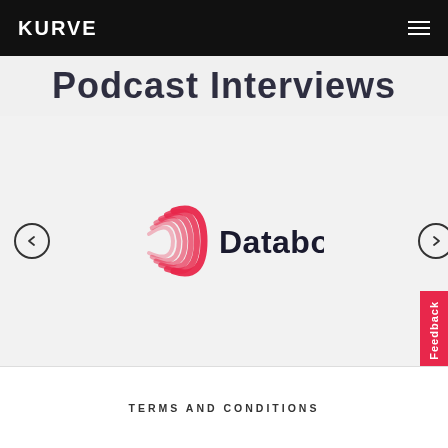KURVE
Podcast Interviews
[Figure (logo): Databowl company logo — pink/red stylized D letterform followed by 'Databowl' in dark navy text, displayed in a carousel/slider on a light grey background with left and right navigation arrows]
Feedback
TERMS AND CONDITIONS